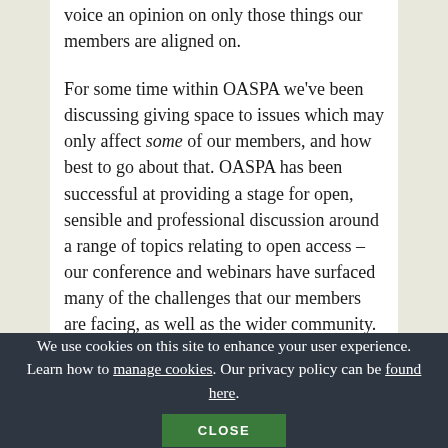voice an opinion on only those things our members are aligned on.
For some time within OASPA we've been discussing giving space to issues which may only affect some of our members, and how best to go about that. OASPA has been successful at providing a stage for open, sensible and professional discussion around a range of topics relating to open access – our conference and webinars have surfaced many of the challenges that our members are facing, as well as the wider community. We want our members to feel that OASPA can provide a platform for them and to help them speak up about what is important to them. And we want to host open and honest conversations
We use cookies on this site to enhance your user experience. Learn how to manage cookies. Our privacy policy can be found here.